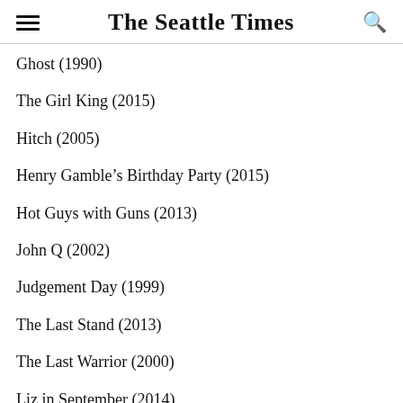The Seattle Times
Ghost (1990)
The Girl King (2015)
Hitch (2005)
Henry Gamble’s Birthday Party (2015)
Hot Guys with Guns (2013)
John Q (2002)
Judgement Day (1999)
The Last Stand (2013)
The Last Warrior (2000)
Liz in September (2014)